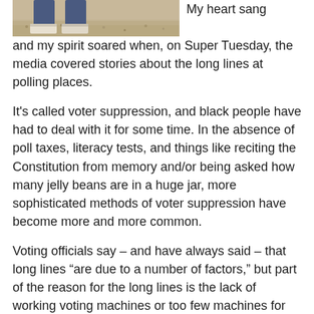[Figure (photo): Photo of person's feet in jeans standing on gravelly ground, cropped to show only lower legs and feet]
My heart sang and my spirit soared when, on Super Tuesday, the media covered stories about the long lines at polling places.
It's called voter suppression, and black people have had to deal with it for some time. In the absence of poll taxes, literacy tests, and things like reciting the Constitution from memory and/or being asked how many jelly beans are in a huge jar, more sophisticated methods of voter suppression have become more and more common.
Voting officials say – and have always said – that long lines “are due to a number of factors,” but part of the reason for the long lines is the lack of working voting machines or too few machines for the number of people expected to vote.